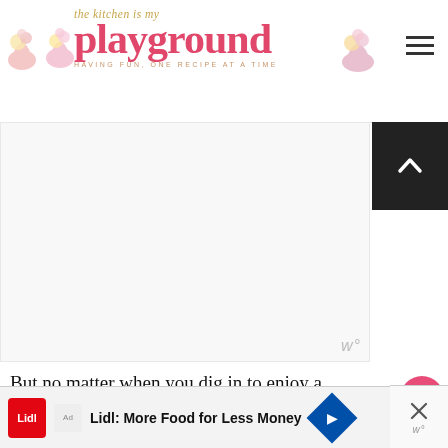[Figure (logo): The Kitchen is my Playground blog logo with cupcake decorations, pink script text reading 'playground' and subtitle 'HAVING FUN, ONE RECIPE AT A TIME']
[Figure (other): Hamburger menu icon (three horizontal lines) in top right corner]
[Figure (other): Advertisement placeholder area below header, grey box]
[Figure (other): Dark scroll-to-top button with white chevron arrow on right side]
But no matter when you dig in to enjoy a big scoop of this classic creamy Southern deliciousness, this is one dessert you're sure to love.
So trifle or punch bowl cake ... it's
[Figure (other): Pink heart/love button circle on right side]
[Figure (other): Share button circle with share icon]
[Figure (other): What's Next widget showing Yellow Cake Mix Pumpki... article thumbnail]
[Figure (other): Lidl advertisement banner at bottom: 'Lidl: More Food for Less Money']